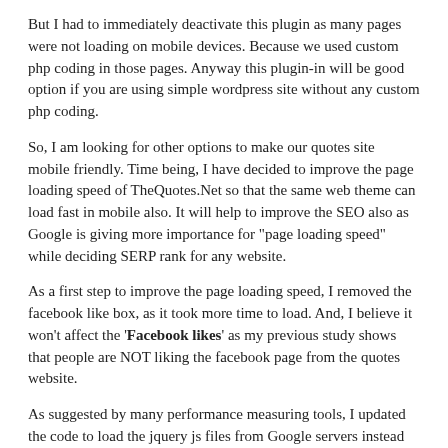But I had to immediately deactivate this plugin as many pages were not loading on mobile devices. Because we used custom php coding in those pages. Anyway this plugin-in will be good option if you are using simple wordpress site without any custom php coding.
So, I am looking for other options to make our quotes site mobile friendly. Time being, I have decided to improve the page loading speed of TheQuotes.Net so that the same web theme can load fast in mobile also. It will help to improve the SEO also as Google is giving more importance for "page loading speed" while deciding SERP rank for any website.
As a first step to improve the page loading speed, I removed the facebook like box, as it took more time to load. And, I believe it won't affect the 'Facebook likes' as my previous study shows that people are NOT liking the facebook page from the quotes website.
As suggested by many performance measuring tools, I updated the code to load the jquery js files from Google servers instead of loading them from our own server.
And, I installed WP Minify wordpress plugin for compressing and combining CSS style files and multiple javascript files. CSS was working fine after activating Minify plugin, but js files gave error. So, I used the WPMinify plugin only for compressing HTML content